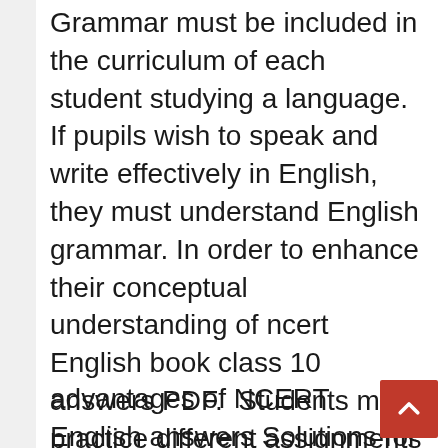Grammar must be included in the curriculum of each student studying a language. If pupils wish to speak and write effectively in English, they must understand English grammar. In order to enhance their conceptual understanding of ncert English book class 10  answers PDF.  Students must practice different assignments on a regular basis. The complexity of these tasks varies, enabling you to excel in your board exams.
advantages of NCERT English answers Solutions for Class 10